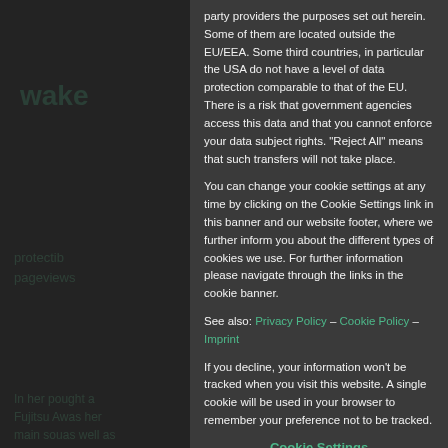party providers the purposes set out herein. Some of them are located outside the EU/EEA. Some third countries, in particular the USA do not have a level of data protection comparable to that of the EU. There is a risk that government agencies access this data and that you cannot enforce your data subject rights. "Reject All" means that such transfers will not take place.
You can change your cookie settings at any time by clicking on the Cookie Settings link in this banner and our website footer, where we further inform you about the different types of cookies we use. For further information please navigate through the links in the cookie banner.
See also: Privacy Policy – Cookie Policy – Imprint
If you decline, your information won't be tracked when you visit this website. A single cookie will be used in your browser to remember your preference not to be tracked.
Cookie Settings
Accept All
Reject All